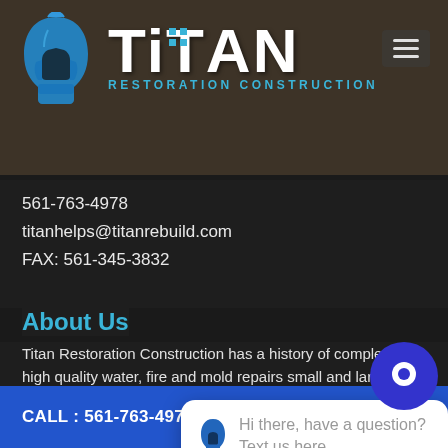[Figure (logo): Titan Restoration Construction logo with Spartan helmet icon, white bold TITAN text, and blue RESTORATION CONSTRUCTION subtitle on dark construction site background]
561-763-4978
titanhelps@titanrebuild.com
FAX: 561-345-3832
About Us
Titan Restoration Construction has a history of completing high quality water, fire and mold repairs small and large scale residential and commercial construction.
We service customers from Miami Dade County north to St. Lucie County including Palm
[Figure (infographic): Chat popup overlay with blue circle chat icon and white speech bubble saying Hi there, have a question? Text us here. with small blue Titan helmet logo inside bubble]
CALL : 561-763-4978    BOOK NOW